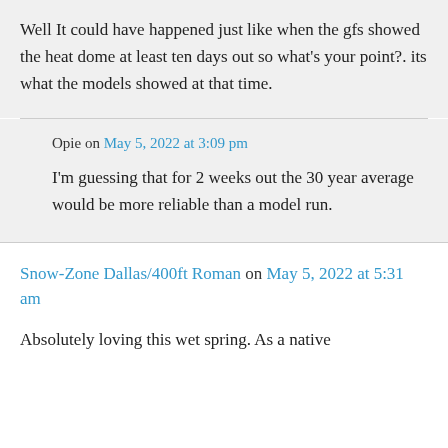Well It could have happened just like when the gfs showed the heat dome at least ten days out so what's your point?. its what the models showed at that time.
Opie on May 5, 2022 at 3:09 pm
I'm guessing that for 2 weeks out the 30 year average would be more reliable than a model run.
Snow-Zone Dallas/400ft Roman on May 5, 2022 at 5:31 am
Absolutely loving this wet spring. As a native